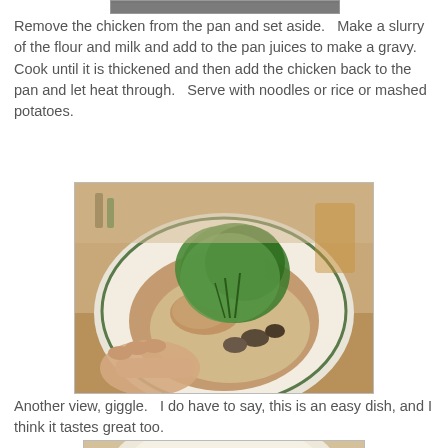[Figure (photo): Partial view of a dish at the top of the page, cropped]
Remove the chicken from the pan and set aside.   Make a slurry of the flour and milk and add to the pan juices to make a gravy. Cook until it is thickened and then add the chicken back to the pan and let heat through.   Serve with noodles or rice or mashed potatoes.
[Figure (photo): A plate of chicken in mushroom gravy garnished with fresh herbs (parsley/cilantro), being held by a hand, on a wooden table background.]
Another view, giggle.   I do have to say, this is an easy dish, and I think it tastes great too.
[Figure (photo): Another view of the chicken dish served on a plate, partially cropped at bottom of page.]